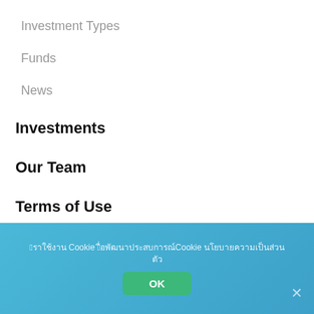Investment Types
Funds
News
Investments
Our Team
Terms of Use
Privacy policy
COPYRIGHT (C) IA Partners ALL RIGHTS RESERVED
เราใช้งาน Cookie เพื่อพัฒนาประสบการณ์Cookie นโยบายความเป็นส่วนตัว